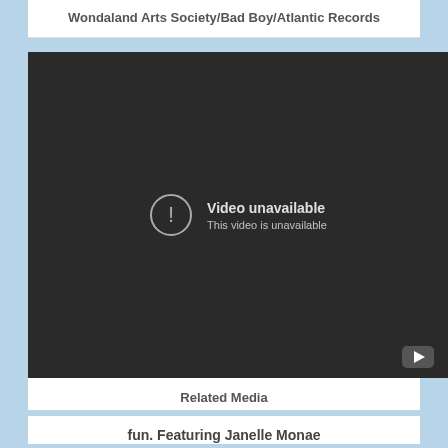Wondaland Arts Society/Bad Boy/Atlantic Records
[Figure (screenshot): Video unavailable placeholder showing a dark background with a circle exclamation icon, text 'Video unavailable' and 'This video is unavailable', and a YouTube logo button in the bottom right corner.]
Related Media
fun. Featuring Janelle Monae